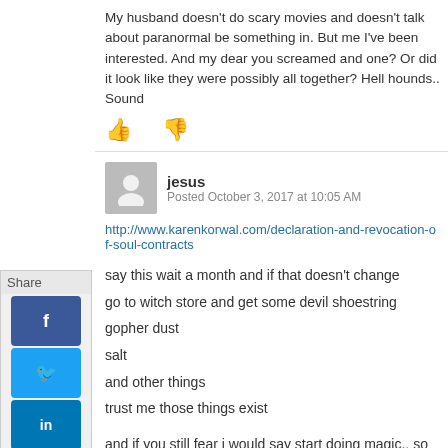My husband doesn't do scary movies and doesn't talk about paranormal be something in. But me I've been interested. And my dear you screamed and one? Or did it look like they were possibly all together? Hell hounds.. Sound
jesus
Posted October 3, 2017 at 10:05 AM
http://www.karenkorwal.com/declaration-and-revocation-of-soul-contracts
say this wait a month and if that doesn't change
go to witch store and get some devil shoestring
gopher dust
salt
and other things
trust me those things exist
and if you still fear i would say start doing magic.. so you can avoid the h message me . marleykidash@yahoo.com